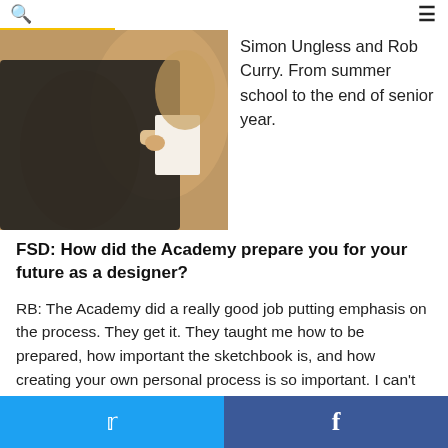Search | Menu
[Figure (photo): A person in a dark top holding papers, with a warm tan/brown background, partial view]
Simon Ungless and Rob Curry. From summer school to the end of senior year.
FSD: How did the Academy prepare you for your future as a designer?
RB: The Academy did a really good job putting emphasis on the process. They get it. They taught me how to be prepared, how important the sketchbook is, and how creating your own personal process is so important. I can't start a collection without a title, or collaging, or writing words—or releasing it out of me. Every collection is very personal to me. I'll go into dark places and bring out the light. They really engraved in me the high-
Twitter | Facebook